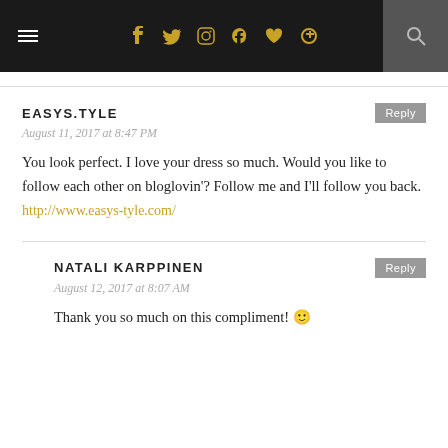Navigation bar with hamburger menu, social icons (facebook, twitter, instagram, pinterest, heart, google+), and search
EASYS.TYLE
August 11, 2017 at 8:47 PM
You look perfect. I love your dress so much. Would you like to follow each other on bloglovin'? Follow me and I'll follow you back. http://www.easys-tyle.com/
NATALI KARPPINEN
August 12, 2017 at 8:07 AM
Thank you so much on this compliment! 🙂